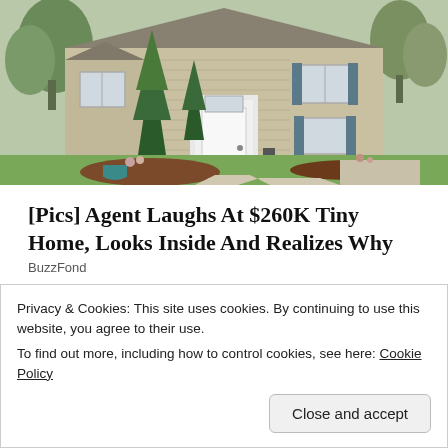[Figure (photo): Exterior photo of a beige/tan house with evergreen trees, white front door, blue shutters, and green lawn with landscaping]
[Pics] Agent Laughs At $260K Tiny Home, Looks Inside And Realizes Why
BuzzFond
Related
#12ReviewsOfXmas #9
#12ReviewsOfXmas Only
Privacy & Cookies: This site uses cookies. By continuing to use this website, you agree to their use.
To find out more, including how to control cookies, see here: Cookie Policy
Close and accept
Limehouse Golem By Peter